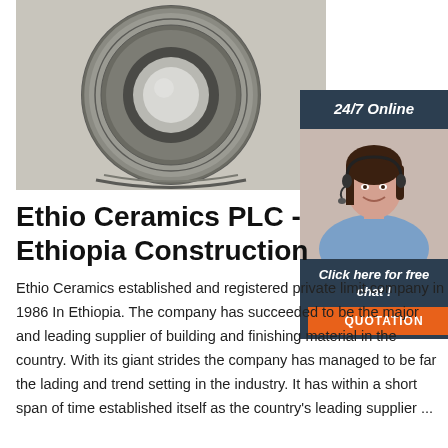[Figure (photo): Close-up photo of a mechanical ball bearing (steel, circular, with inner and outer race visible) on a light gray background]
[Figure (photo): Sidebar with dark blue-gray background showing '24/7 Online' text, a smiling female customer service agent wearing a headset, 'Click here for free chat!' text, and an orange QUOTATION button]
Ethio Ceramics PLC - Ethiopia Construction
Ethio Ceramics established and registered private limit company in 1986 In Ethiopia. The company has succeeded to be the major and leading supplier of building and finishing material in the country. With its giant strides the company has managed to be far the lading and trend setting in the industry. It has within a short span of time established itself as the country's leading supplier ...